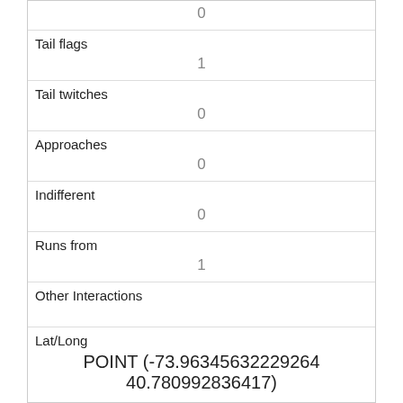| 0 |
| Tail flags | 1 |
| Tail twitches | 0 |
| Approaches | 0 |
| Indifferent | 0 |
| Runs from | 1 |
| Other Interactions |  |
| Lat/Long | POINT (-73.96345632229264 40.780992836417) |
| Link | 731 |
| rowid | 731 |